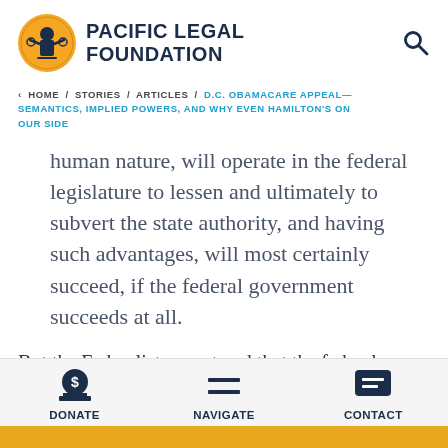[Figure (logo): Pacific Legal Foundation logo — circular yellow badge with a figure and scales of justice, beside bold dark blue text reading PACIFIC LEGAL FOUNDATION]
< HOME / STORIES / ARTICLES / D.C. OBAMACARE APPEAL—SEMANTICS, IMPLIED POWERS, AND WHY EVEN HAMILTON'S ON OUR SIDE
human nature, will operate in the federal legislature to lessen and ultimately to subvert the state authority, and having such advantages, will most certainly succeed, if the federal government succeeds at all.
But the Federalists countered that the federal government gave Congress only limited
DONATE   NAVIGATE   CONTACT